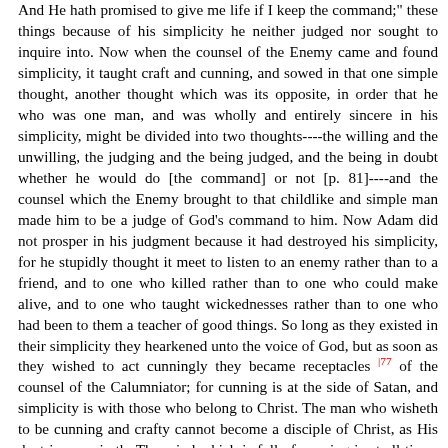And He hath promised to give me life if I keep the command;" these things because of his simplicity he neither judged nor sought to inquire into. Now when the counsel of the Enemy came and found simplicity, it taught craft and cunning, and sowed in that one simple thought, another thought which was its opposite, in order that he who was one man, and was wholly and entirely sincere in his simplicity, might be divided into two thoughts----the willing and the unwilling, the judging and the being judged, and the being in doubt whether he would do [the command] or not [p. 81]----and the counsel which the Enemy brought to that childlike and simple man made him to be a judge of God's command to him. Now Adam did not prosper in his judgment because it had destroyed his simplicity, for he stupidly thought it meet to listen to an enemy rather than to a friend, and to one who killed rather than to one who could make alive, and to one who taught wickednesses rather than to one who had been to them a teacher of good things. So long as they existed in their simplicity they hearkened unto the voice of God, but as soon as they wished to act cunningly they became receptacles [77] of the counsel of the Calumniator; for cunning is at the side of Satan, and simplicity is with those who belong to Christ. The man who wisheth to be cunning and crafty cannot become a disciple of Christ, as His doctrine requireth. The mind which is full of cunning is at all times destroying and building up thoughts which are opposite [to one another]; it bindeth up and looseth, it believeth and denieth, at one time it deemeth a thing